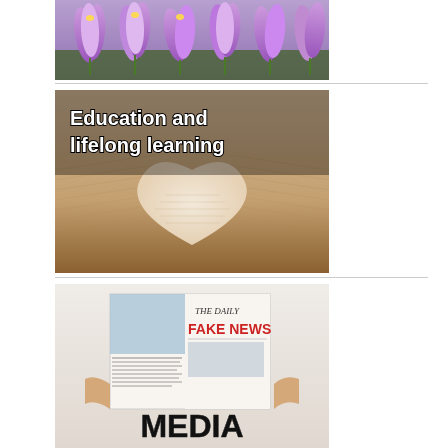[Figure (photo): Purple crocus flowers with green stems, close-up photo]
[Figure (photo): Open book with pages folded into a heart shape, overlaid with bold white text reading 'Education and lifelong learning']
[Figure (photo): Person holding newspaper with headline 'THE DAILY FAKE NEWS', with large bold text 'MEDIA' at the bottom]